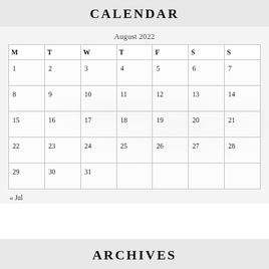CALENDAR
August 2022
| M | T | W | T | F | S | S |
| --- | --- | --- | --- | --- | --- | --- |
| 1 | 2 | 3 | 4 | 5 | 6 | 7 |
| 8 | 9 | 10 | 11 | 12 | 13 | 14 |
| 15 | 16 | 17 | 18 | 19 | 20 | 21 |
| 22 | 23 | 24 | 25 | 26 | 27 | 28 |
| 29 | 30 | 31 |  |  |  |  |
« Jul
ARCHIVES